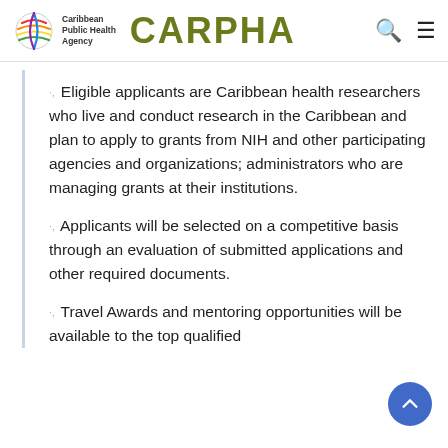Caribbean Public Health Agency CARPHA
Eligible applicants are Caribbean health researchers who live and conduct research in the Caribbean and plan to apply to grants from NIH and other participating agencies and organizations; administrators who are managing grants at their institutions.
Applicants will be selected on a competitive basis through an evaluation of submitted applications and other required documents.
Travel Awards and mentoring opportunities will be available to the top qualified